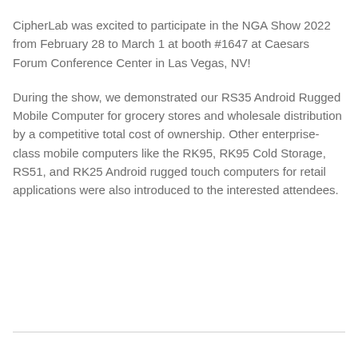CipherLab was excited to participate in the NGA Show 2022 from February 28 to March 1 at booth #1647 at Caesars Forum Conference Center in Las Vegas, NV!
During the show, we demonstrated our RS35 Android Rugged Mobile Computer for grocery stores and wholesale distribution by a competitive total cost of ownership. Other enterprise-class mobile computers like the RK95, RK95 Cold Storage, RS51, and RK25 Android rugged touch computers for retail applications were also introduced to the interested attendees.